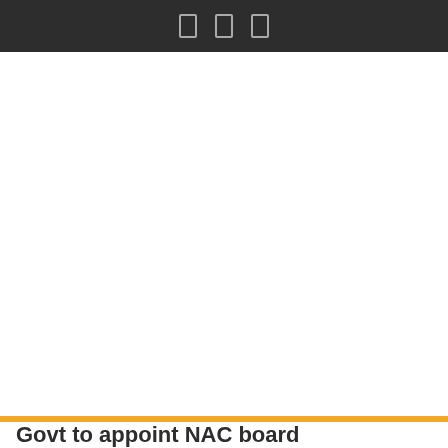[ ] [ ] [ ]
[Figure (screenshot): Large white blank area representing a mobile app screenshot placeholder or image area]
[ ] fl [menu icon]
Govt to appoint NAC board